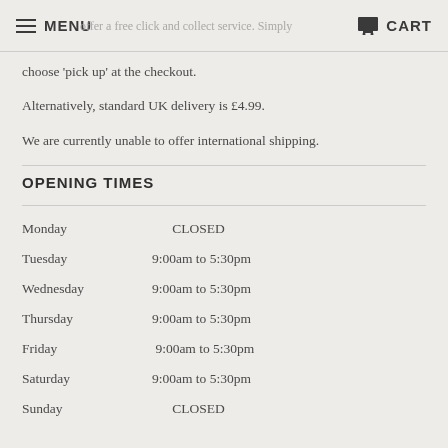MENU  CART
choose 'pick up' at the checkout.
Alternatively, standard UK delivery is £4.99.
We are currently unable to offer international shipping.
OPENING TIMES
| Day | Hours |
| --- | --- |
| Monday | CLOSED |
| Tuesday | 9:00am to 5:30pm |
| Wednesday | 9:00am to 5:30pm |
| Thursday | 9:00am to 5:30pm |
| Friday | 9:00am to 5:30pm |
| Saturday | 9:00am to 5:30pm |
| Sunday | CLOSED |